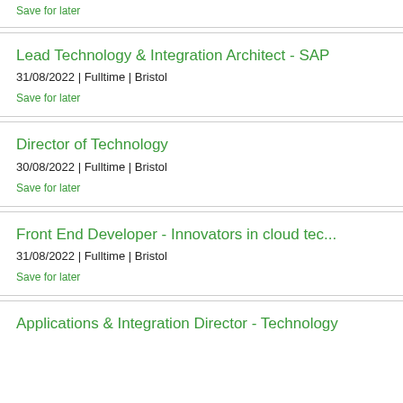Save for later
Lead Technology & Integration Architect - SAP
31/08/2022 | Fulltime | Bristol
Save for later
Director of Technology
30/08/2022 | Fulltime | Bristol
Save for later
Front End Developer - Innovators in cloud tec...
31/08/2022 | Fulltime | Bristol
Save for later
Applications & Integration Director - Technology